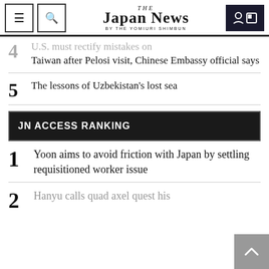THE JAPAN NEWS BY THE YOMIURI SHIMBUN
4 U.S. must rectify mistakes on Taiwan after Pelosi visit, Chinese Embassy official says
5 The lessons of Uzbekistan's lost sea
JN ACCESS RANKING
1 Yoon aims to avoid friction with Japan by settling requisitioned worker issue
2 Hanyu calls quad axel quest his